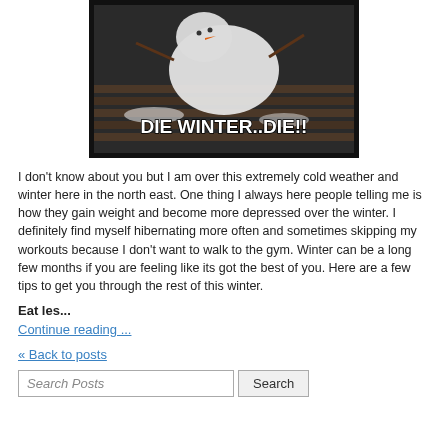[Figure (photo): Meme image showing a melting snowman lying on a wooden deck with text 'DIE WINTER..DIE!!' overlaid in white Impact font]
I don't know about you but I am over this extremely cold weather and winter here in the north east. One thing I always here people telling me is how they gain weight and become more depressed over the winter.  I definitely find myself hibernating more often and sometimes skipping my workouts because I don't want to walk to the gym.  Winter can be a long few months if you are feeling like its got the best of you.  Here are a few tips to get you through the rest of this winter.
Eat les...
Continue reading ...
« Back to posts